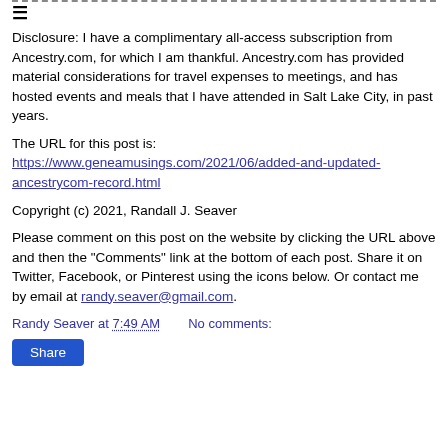≡
Disclosure: I have a complimentary all-access subscription from Ancestry.com, for which I am thankful. Ancestry.com has provided material considerations for travel expenses to meetings, and has hosted events and meals that I have attended in Salt Lake City, in past years.
The URL for this post is:  https://www.geneamusings.com/2021/06/added-and-updated-ancestrycom-record.html
Copyright (c) 2021, Randall J. Seaver
Please comment on this post on the website by clicking the URL above and then the "Comments" link at the bottom of each post. Share it on Twitter, Facebook, or Pinterest using the icons below. Or contact me by email at randy.seaver@gmail.com.
Randy Seaver at 7:49 AM    No comments:
Share